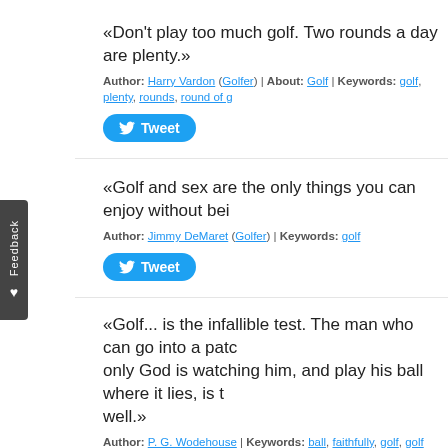«Don't play too much golf. Two rounds a day are plenty.»
Author: Harry Vardon (Golfer) | About: Golf | Keywords: golf, plenty, rounds, round of g...
Tweet
«Golf and sex are the only things you can enjoy without bei...
Author: Jimmy DeMaret (Golfer) | Keywords: golf
Tweet
«Golf... is the infallible test. The man who can go into a patc... only God is watching him, and play his ball where it lies, is t... well.»
Author: P. G. Wodehouse | Keywords: ball, faithfully, golf, golf ball, go into, infallible, pa...
Tweet
«A Major golf tournament is 40,000 sadists watching 144 m...
Author: Thomas Boswell | Keywords: golf, major, masochist, masochists, sadist, sadists, t...
Tweet